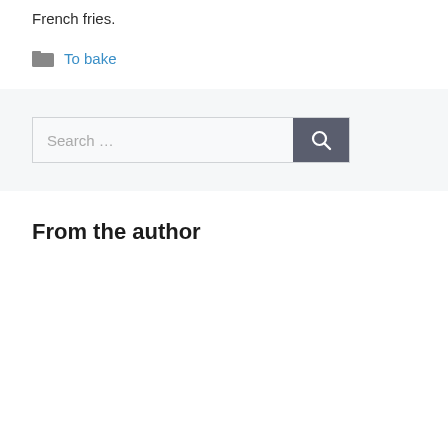French fries.
To bake
[Figure (other): Search bar with text input field reading 'Search ...' and a dark gray search button with magnifying glass icon]
From the author